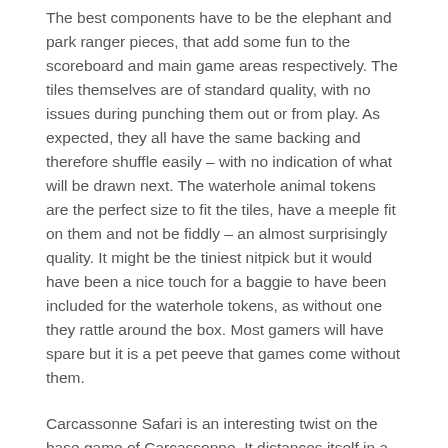The best components have to be the elephant and park ranger pieces, that add some fun to the scoreboard and main game areas respectively. The tiles themselves are of standard quality, with no issues during punching them out or from play. As expected, they all have the same backing and therefore shuffle easily – with no indication of what will be drawn next. The waterhole animal tokens are the perfect size to fit the tiles, have a meeple fit on them and not be fiddly – an almost surprisingly quality. It might be the tiniest nitpick but it would have been a nice touch for a baggie to have been included for the waterhole tokens, as without one they rattle around the box. Most gamers will have spare but it is a pet peeve that games come without them.
Carcassonne Safari is an interesting twist on the base game of Carcassonne. It distances itself in a number of ways, via scoring and the visual appearance, and each of these changes work. Players will have to play differently to score big, with the use of tiles somewhat altered – depending on what animals are featured more so than shape. The strengths of the original, being a fun, fast, family weight